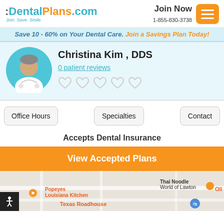:DentalPlans.com Join. Save. Smile. | Join Now 1-855-830-3738
Save 10 - 60% on Your Dental Care. Join a Savings Plan Today!
Christina Kim , DDS
0 patient reviews
[Figure (illustration): Doctor avatar in teal circle]
Office Hours   Specialties   Contact
Accepts Dental Insurance
View Accepted Plans
[Figure (map): Google map showing Popeyes Louisiana Kitchen, Thai Noodle World of Lawton, Texas Roadhouse]